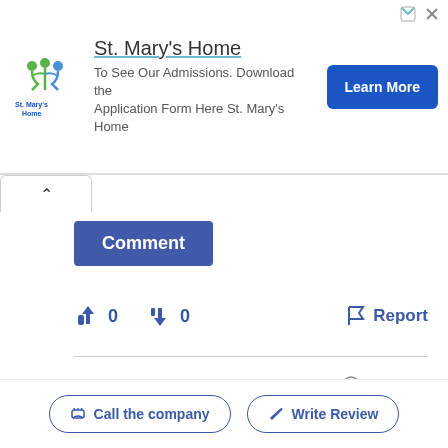[Figure (screenshot): St. Mary's Home advertisement banner with logo, title, subtitle text, and a blue Learn More button]
Comment
👍 0   👎 0   Report
| Field | Value |
| --- | --- |
| ID | #3824413 ℹ |
| Preferred solution | Let the company propose a solution |
Share
Call the company   Write Review